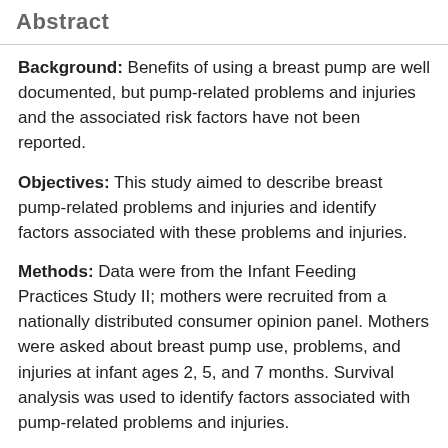Abstract
Background: Benefits of using a breast pump are well documented, but pump-related problems and injuries and the associated risk factors have not been reported.
Objectives: This study aimed to describe breast pump-related problems and injuries and identify factors associated with these problems and injuries.
Methods: Data were from the Infant Feeding Practices Study II; mothers were recruited from a nationally distributed consumer opinion panel. Mothers were asked about breast pump use, problems, and injuries at infant ages 2, 5, and 7 months. Survival analysis was used to identify factors associated with pump-related problems and injuries.
Results: The sample included 1844 mothers. About 62% and 15% of mothers reported pump-related problems and injuries, respectively. The most commonly reported